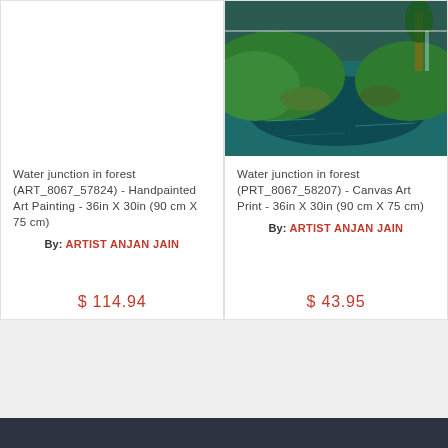[Figure (photo): White/blank image area for left card (Water junction in forest handpainted art painting)]
Water junction in forest (ART_8067_57824) - Handpainted Art Painting - 36in X 30in (90 cm X 75 cm)
By: ARTIST ANJAN JAIN
$ 114.94
[Figure (photo): Landscape photo of a water junction in a forest with green hills, teal water, and trees]
Water junction in forest (PRT_8067_58207) - Canvas Art Print - 36in X 30in (90 cm X 75 cm)
By: ARTIST ANJAN JAIN
$ 43.95